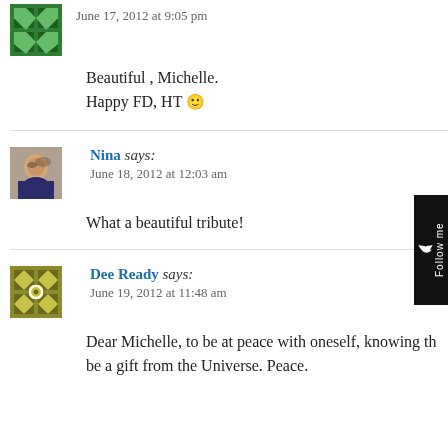[Figure (illustration): Green quilt-pattern avatar icon, partially visible at top]
June 17, 2012 at 9:05 pm
Beautiful , Michelle.
Happy FD, HT 🙂
Nina says:
June 18, 2012 at 12:03 am
What a beautiful tribute!
Dee Ready says:
June 19, 2012 at 11:48 am
Dear Michelle, to be at peace with oneself, knowing the… be a gift from the Universe. Peace.